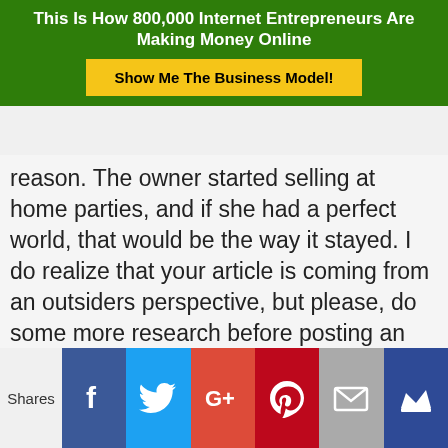This Is How 800,000 Internet Entrepreneurs Are Making Money Online
Show Me The Business Model!
reason. The owner started selling at home parties, and if she had a perfect world, that would be the way it stayed. I do realize that your article is coming from an outsiders perspective, but please, do some more research before posting an article like this. If you wouldn't mind though, could you go into more detail about bulk buying by the distributor and why it is frowned upon.
Reply
Shares [Facebook] [Twitter] [Google+] [Pinterest] [Email] [Crown]